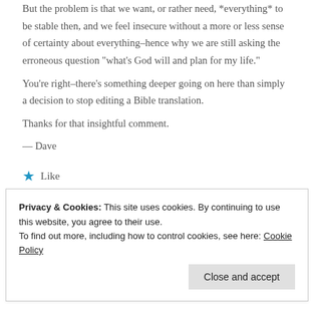But the problem is that we want, or rather need, *everything* to be stable then, and we feel insecure without a more or less sense of certainty about everything–hence why we are still asking the erroneous question "what's God will and plan for my life."
You're right–there's something deeper going on here than simply a decision to stop editing a Bible translation.
Thanks for that insightful comment.
— Dave
★ Like
Reply
Privacy & Cookies: This site uses cookies. By continuing to use this website, you agree to their use.
To find out more, including how to control cookies, see here: Cookie Policy
Close and accept